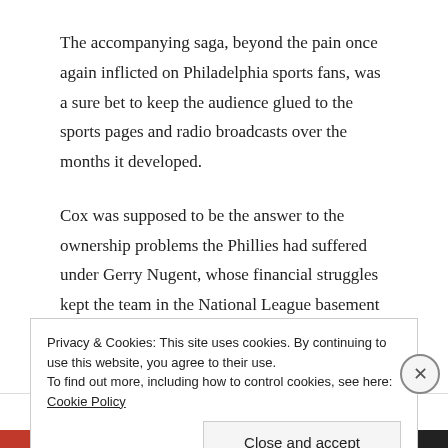The accompanying saga, beyond the pain once again inflicted on Philadelphia sports fans, was a sure bet to keep the audience glued to the sports pages and radio broadcasts over the months it developed.
Cox was supposed to be the answer to the ownership problems the Phillies had suffered under Gerry Nugent, whose financial struggles kept the team in the National League basement and in debt.
A local lumber magnate, Cox bought the team in
Privacy & Cookies: This site uses cookies. By continuing to use this website, you agree to their use.
To find out more, including how to control cookies, see here: Cookie Policy
Close and accept
Advertisements